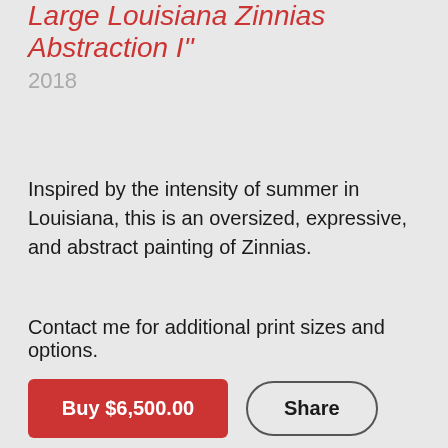Large Louisiana Zinnias Abstraction I"
2018
Inspired by the intensity of summer in Louisiana, this is an oversized, expressive, and abstract painting of Zinnias.
Contact me for additional print sizes and options.
Buy $6,500.00
Share